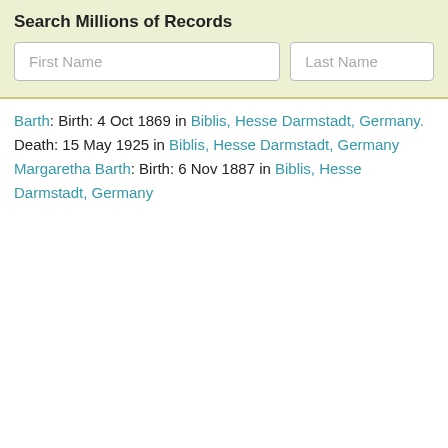Search Millions of Records
Barth: Birth: 4 Oct 1869 in Biblis, Hesse Darmstadt, Germany. Death: 15 May 1925 in Biblis, Hesse Darmstadt, Germany Margaretha Barth: Birth: 6 Nov 1887 in Biblis, Hesse Darmstadt, Germany